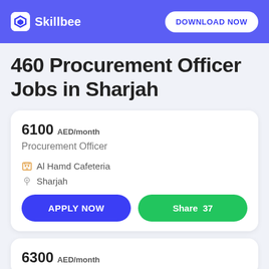Skillbee — DOWNLOAD NOW
460 Procurement Officer Jobs in Sharjah
6100 AED/month
Procurement Officer
Al Hamd Cafeteria
Sharjah
APPLY NOW   Share  37
6300 AED/month